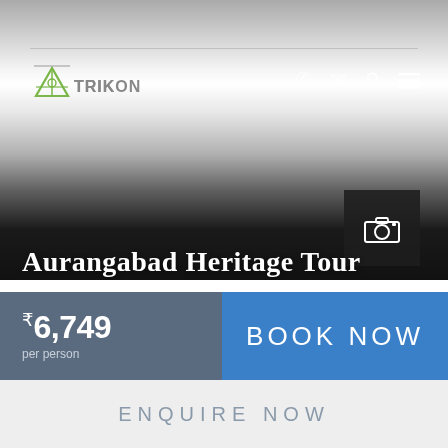[Figure (logo): Trikon travel company logo with triangle/mountain icon and 'TRIKON' text in green/grey]
[Figure (screenshot): Navigation icons: phone, envelope, search, hamburger menu in white on gradient background]
[Figure (other): Black camera icon button in top right of hero image area]
Aurangabad Heritage Tour
OVERVIEW
DATES AND RATES
ITINERARY
INCLUSIONS/EX
Heritage Tour
₹6,749
per person
BOOK NOW
ENQUIRE NOW